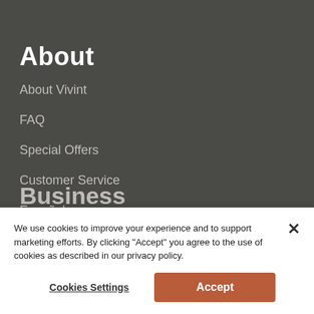About
About Vivint
FAQ
Special Offers
Customer Service
Español
Business
We use cookies to improve your experience and to support marketing efforts. By clicking "Accept" you agree to the use of cookies as described in our privacy policy.
Cookies Settings
Accept